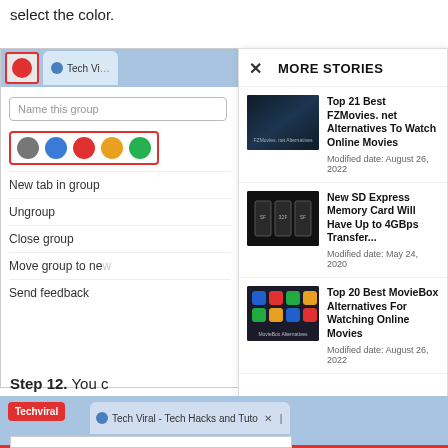select the color.
[Figure (screenshot): Left panel showing Chrome tab group UI with red-bordered color selector dots (grey, blue, red, orange) and menu options: New tab in group, Ungroup, Close group, Move group to new, Send feedback]
[Figure (screenshot): Right panel showing 'MORE STORIES' popup with three articles: Top 21 Best FZMovies.net Alternatives To Watch Online Movies (Aug 26 2022), New SD Express Memory Card Will Have Up to 4GBps Transfer... (May 24 2020), Top 20 Best MovieBox Alternatives For Watching Online Movies (Aug 26 2022)]
Step 12. You c
[Figure (screenshot): Bottom browser bar showing Techviral red button and Tech Viral tab with X close button]